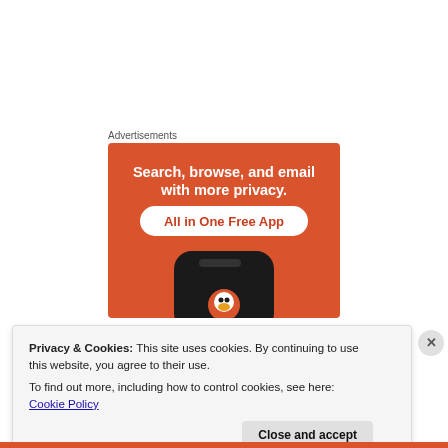Advertisements
[Figure (illustration): DuckDuckGo advertisement banner on orange/red background showing text 'Search, browse, and email with more privacy. All in One Free App' with a phone graphic and duck logo]
Privacy & Cookies: This site uses cookies. By continuing to use this website, you agree to their use.
To find out more, including how to control cookies, see here: Cookie Policy
Close and accept